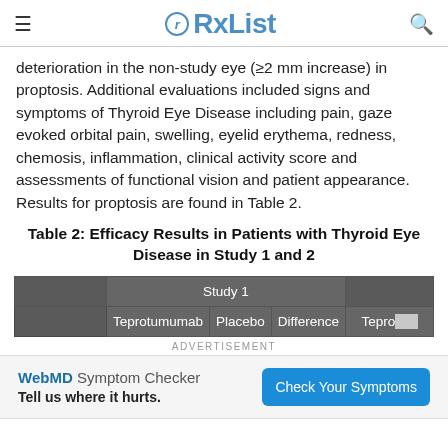RxList
deterioration in the non-study eye (≥2 mm increase) in proptosis. Additional evaluations included signs and symptoms of Thyroid Eye Disease including pain, gaze evoked orbital pain, swelling, eyelid erythema, redness, chemosis, inflammation, clinical activity score and assessments of functional vision and patient appearance. Results for proptosis are found in Table 2.
Table 2: Efficacy Results in Patients with Thyroid Eye Disease in Study 1 and 2
|  | Study 1 |  |  | Teprotumumab (Study 2) |
| --- | --- | --- | --- | --- |
|  | Teprotumumab | Placebo | Difference | Tepro... |
ADVERTISEMENT
WebMD Symptom Checker — Tell us where it hurts. Check Your Symptoms